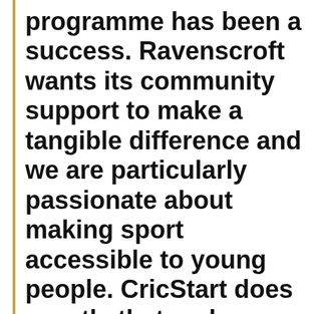programme has been a success. Ravenscroft wants its community support to make a tangible difference and we are particularly passionate about making sport accessible to young people. CricStart does exactly that and we are delighted to extend our support for another year.